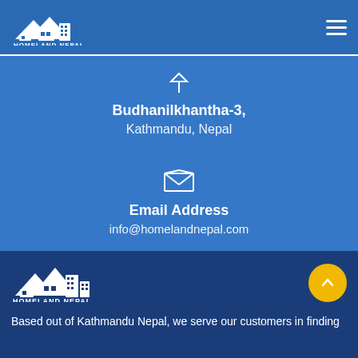[Figure (logo): Homeland Nepal logo in top navigation bar — white house/buildings silhouette with text HOMELAND NEPAL]
Budhanilkhantha-3,
Kathmandu, Nepal
Email Address
info@homelandnepal.com
[Figure (logo): Homeland Nepal logo in footer — white house/buildings silhouette with text HOMELAND NEPAL on dark blue background]
Based out of Kathmandu Nepal, we serve our customers in finding